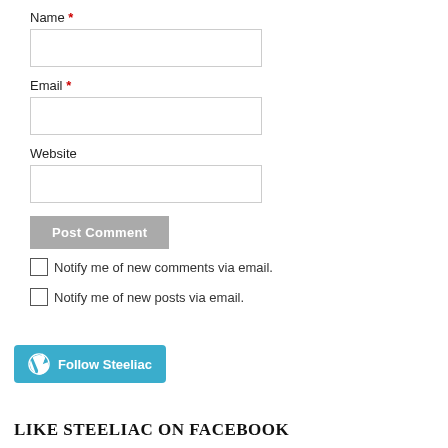Name *
Email *
Website
Post Comment
Notify me of new comments via email.
Notify me of new posts via email.
[Figure (other): Follow Steeliac button with WordPress logo]
LIKE STEELIAC ON FACEBOOK